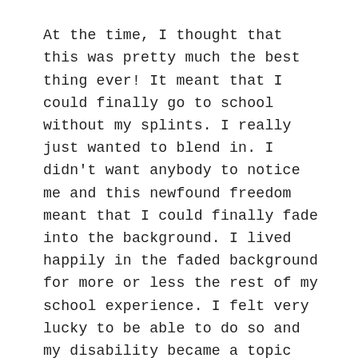At the time, I thought that this was pretty much the best thing ever! It meant that I could finally go to school without my splints. I really just wanted to blend in. I didn't want anybody to notice me and this newfound freedom meant that I could finally fade into the background. I lived happily in the faded background for more or less the rest of my school experience. I felt very lucky to be able to do so and my disability became a topic that I tried to put out of my mind.
My successful attempts to put my disability out of mind presented a problem once I hit my 20's. I started to notice some changes in the way I moved around. Physical therapy is an essential